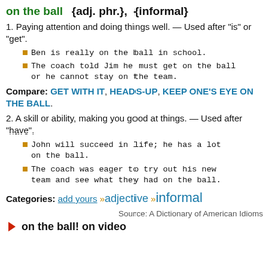on the ball  {adj. phr.},  {informal}
1. Paying attention and doing things well. — Used after "is" or "get".
Ben is really on the ball in school.
The coach told Jim he must get on the ball or he cannot stay on the team.
Compare: GET WITH IT, HEADS-UP, KEEP ONE'S EYE ON THE BALL.
2. A skill or ability, making you good at things. — Used after "have".
John will succeed in life; he has a lot on the ball.
The coach was eager to try out his new team and see what they had on the ball.
Categories: add yours »adjective »informal
Source: A Dictionary of American Idioms
on the ball! on video